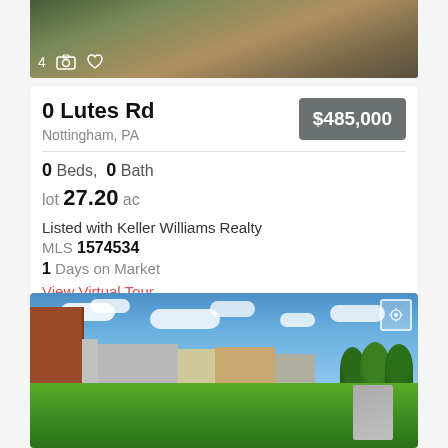[Figure (photo): Aerial/landscape photo of property with natural terrain, grasses and trees]
0 Lutes Rd
Nottingham, PA
$485,000
0 Beds,  0 Bath
lot 27.20 ac
Listed with Keller Williams Realty
MLS 1574534
1 Days on Market
View Virtual Tour
[Figure (photo): Panoramic photo of vacant lot with green grass field in foreground, residential neighborhood buildings in background, blue sky with clouds]